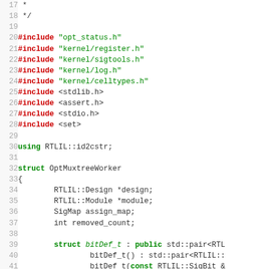Source code listing lines 17-46 showing C++ include directives, using statement, and struct definitions for OptMuxtreeWorker